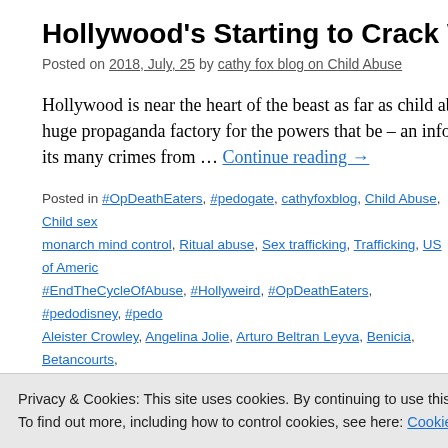Hollywood's Starting to Crack Wide Open
Posted on 2018, July, 25 by cathy fox blog on Child Abuse
Hollywood is near the heart of the beast as far as child abuse is concerned – it is a huge propaganda factory for the powers that be – an information controller hiding its many crimes from … Continue reading →
Posted in #OpDeathEaters, #pedogate, cathyfoxblog, Child Abuse, Child sex, monarch mind control, Ritual abuse, Sex trafficking, Trafficking, US of America, #EndTheCycleOfAbuse, #Hollyweird, #OpDeathEaters, #pedodisney, #pedo, Aleister Crowley, Angelina Jolie, Arturo Beltran Leyva, Benicia, Betancourts, cathyfoxblog, Cellebrite, cheryl curran, cheryl dolan, Child abuse, Child sexual, corridor, children, CIA, clare bronfman, Clare Grant, criminal cabal, csa, Dan, Do as thy wilt, Elsagate, Entertainment, eyes wide open, fiona barnett, Genar, Socks, Greenberg, Guerrero, HIvites, Hollywood, Illuminati, Isaac, Isaac Kapp, Jay-Z, JayZ, Jon Voight, Koch, Laredo, Lexi Alexander, Liz Crokin, Macaulay
Privacy & Cookies: This site uses cookies. By continuing to use this website, you agree to their use. To find out more, including how to control cookies, see here: Cookie Policy